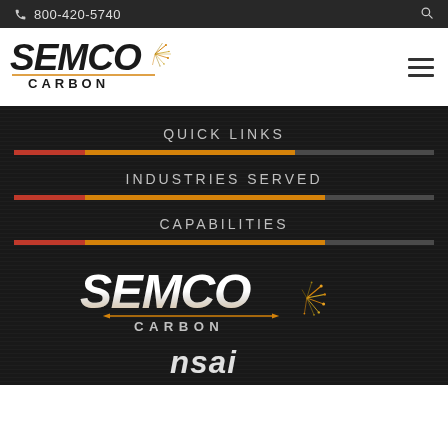800-420-5740
[Figure (logo): Semco Carbon logo with spark graphic, top navigation bar with hamburger menu]
QUICK LINKS
INDUSTRIES SERVED
CAPABILITIES
[Figure (logo): Semco Carbon large white logo with orange and gold spark graphic on dark background]
[Figure (logo): NSAI logo certification mark at bottom]